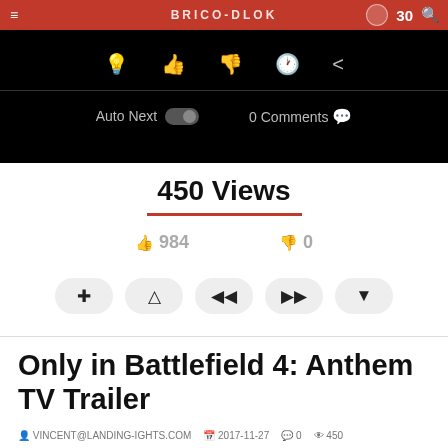[Figure (screenshot): Top navigation bar with red background showing BRICO-DLOK branding text and icons including a circular avatar and search icon]
[Figure (screenshot): Black video control bar with icons: lightbulb, thumbs up, thumbs down, clock, share. Below a divider: Auto Next toggle switch and 0 Comments with chat bubble icon]
450 Views
984   0
[Figure (screenshot): Five rounded button controls: plus, warning triangle, skip-back, skip-forward, download]
Only in Battlefield 4: Anthem TV Trailer
VINCENT@LANDING-IGHTS.COM   2017-11-27   0   450